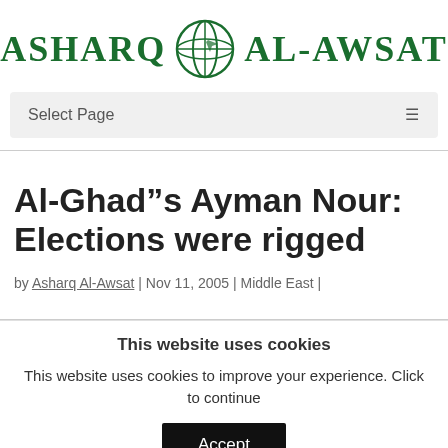[Figure (logo): Asharq Al-Awsat newspaper logo with globe icon in dark green]
Select Page
Al-Ghad”s Ayman Nour: Elections were rigged
by Asharq Al-Awsat | Nov 11, 2005 | Middle East |
This website uses cookies
This website uses cookies to improve your experience. Click to continue